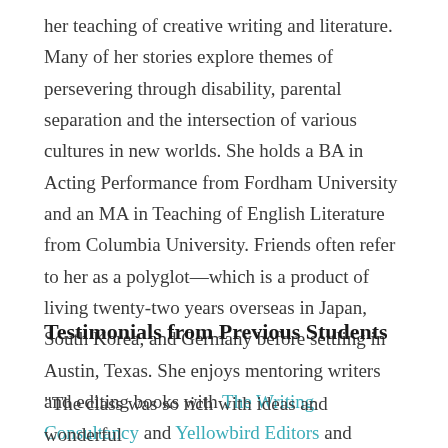her teaching of creative writing and literature. Many of her stories explore themes of persevering through disability, parental separation and the intersection of various cultures in new worlds. She holds a BA in Acting Performance from Fordham University and an MA in Teaching of English Literature from Columbia University. Friends often refer to her as a polyglot—which is a product of living twenty-two years overseas in Japan, South Korea, and Germany before settling in Austin, Texas. She enjoys mentoring writers and editing books with The Writing Consultancy and Yellowbird Editors and teaches first-year writing at St. Edward's University.
Testimonials from Previous Students
“The class was so rich with ideas and wonderful